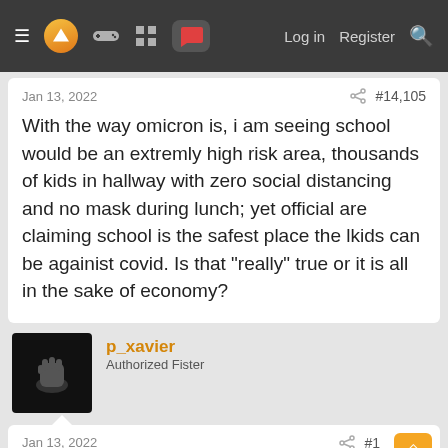Navigation bar with menu, logo, icons, Log in, Register, Search
Jan 13, 2022  #14,105
With the way omicron is, i am seeing school would be an extremly high risk area, thousands of kids in hallway with zero social distancing and no mask during lunch; yet official are claiming school is the safest place the lkids can be againist covid. Is that "really" true or it is all in the sake of economy?
p_xavier
Authorized Fister
Jan 13, 2022  #1...
xellos2099alpha said:
With the way omicron is, i am seeing school would be an extremly high risk area, thousands of kids in hallway with zero social distancing and no mask during lunch; yet official